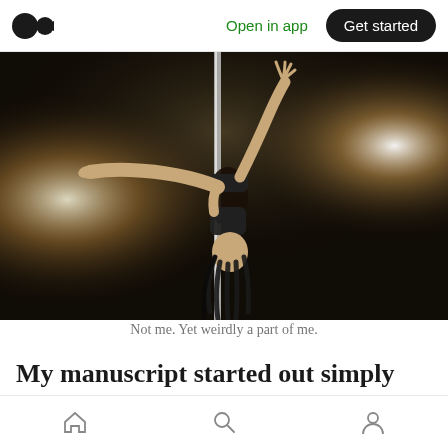Open in app   Get started
[Figure (photo): A pole dancer performing an inverted pose on a vertical pole, silhouetted against dramatic stage lighting with golden and white glare effects on a dark background.]
Not me. Yet weirdly a part of me.
My manuscript started out simply enough, all
Home  Search  Profile